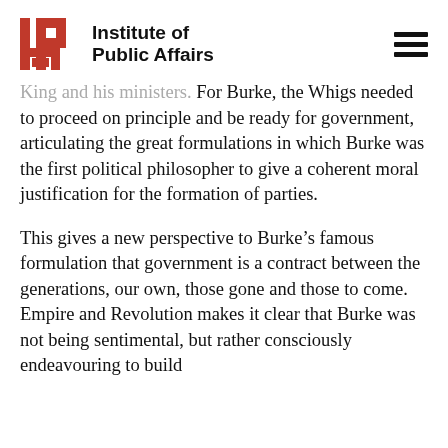Institute of Public Affairs
King and his ministers. For Burke, the Whigs needed to proceed on principle and be ready for government, articulating the great formulations in which Burke was the first political philosopher to give a coherent moral justification for the formation of parties.
This gives a new perspective to Burke’s famous formulation that government is a contract between the generations, our own, those gone and those to come. Empire and Revolution makes it clear that Burke was not being sentimental, but rather consciously endeavouring to build